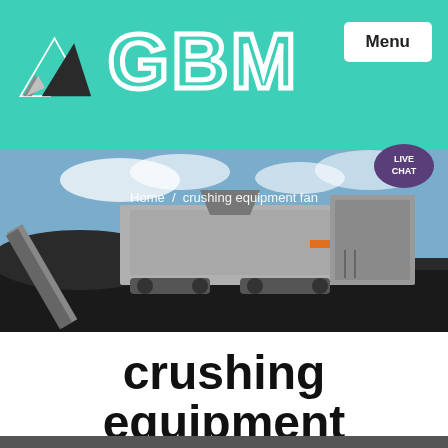GBM
[Figure (screenshot): GBM company logo with mountain/triangle icon and teal GBM text on teal header background, with Menu button top right]
[Figure (photo): Large industrial mobile crushing and screening equipment on a dark crushed aggregate site under blue sky with clouds. Breadcrumb overlay reads: Home / crushing equipment fan]
crushing equipment fan